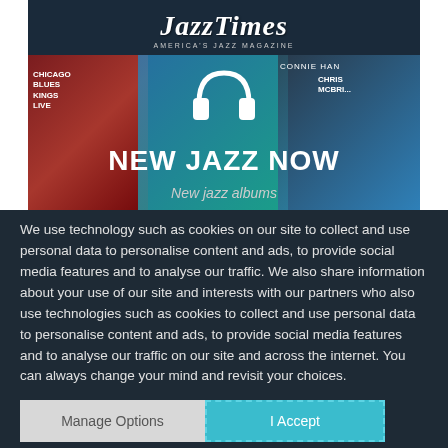[Figure (screenshot): JazzTimes magazine app screenshot showing 'NEW JAZZ NOW' feature with headphones icon and album covers in the background]
We use technology such as cookies on our site to collect and use personal data to personalise content and ads, to provide social media features and to analyse our traffic. We also share information about your use of our site and interests with our partners who also use technologies such as cookies to collect and use personal data to personalise content and ads, to provide social media features and to analyse our traffic on our site and across the internet. You can always change your mind and revisit your choices.
Manage Options
I Accept